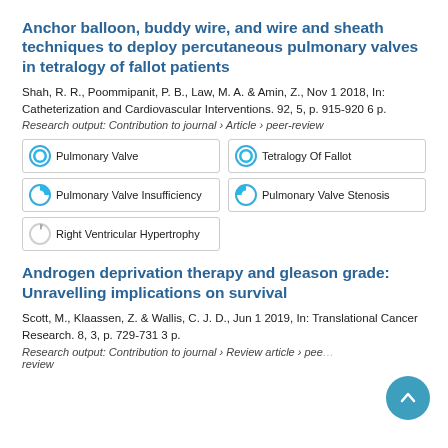Anchor balloon, buddy wire, and wire and sheath techniques to deploy percutaneous pulmonary valves in tetralogy of fallot patients
Shah, R. R., Poommipanit, P. B., Law, M. A. & Amin, Z., Nov 1 2018, In: Catheterization and Cardiovascular Interventions. 92, 5, p. 915-920 6 p.
Research output: Contribution to journal › Article › peer-review
Pulmonary Valve
Tetralogy Of Fallot
Pulmonary Valve Insufficiency
Pulmonary Valve Stenosis
Right Ventricular Hypertrophy
Androgen deprivation therapy and gleason grade: Unravelling implications on survival
Scott, M., Klaassen, Z. & Wallis, C. J. D., Jun 1 2019, In: Translational Cancer Research. 8, 3, p. 729-731 3 p.
Research output: Contribution to journal › Review article › peer-review